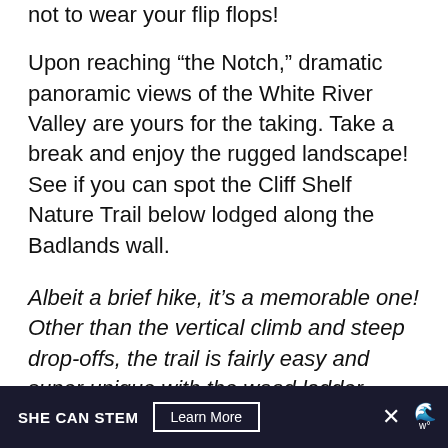not to wear your flip flops!
Upon reaching “the Notch,” dramatic panoramic views of the White River Valley are yours for the taking. Take a break and enjoy the rugged landscape! See if you can spot the Cliff Shelf Nature Trail below lodged along the Badlands wall.
Albeit a brief hike, it’s a memorable one! Other than the vertical climb and steep drop-offs, the trail is fairly easy and super unique with the wood ladder scramble so we highly recommend it.
SHE CAN STEM  Learn More